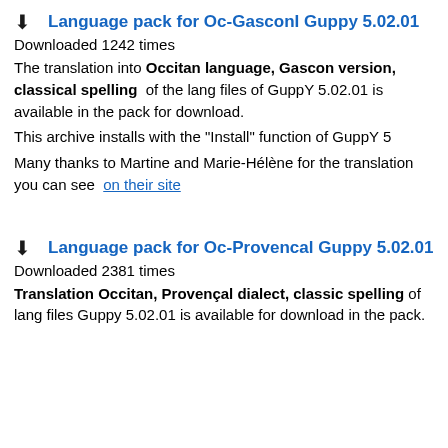Language pack for Oc-GasconI Guppy 5.02.01
Downloaded 1242 times
The translation into Occitan language, Gascon version, classical spelling of the lang files of GuppY 5.02.01 is available in the pack for download.
This archive installs with the "Install" function of GuppY 5
Many thanks to Martine and Marie-Hélène for the translation you can see on their site
Language pack for Oc-Provencal Guppy 5.02.01
Downloaded 2381 times
Translation Occitan, Provençal dialect, classic spelling of lang files Guppy 5.02.01 is available for download in the pack.